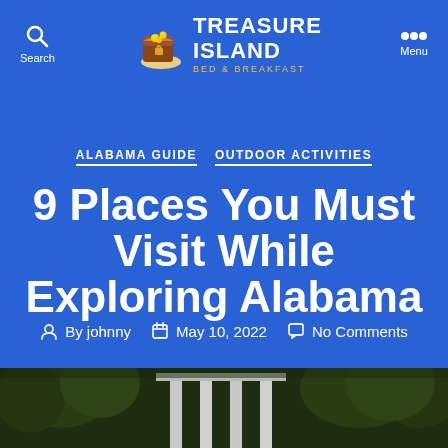Treasure Island Bed & Breakfast — Search | Menu
ALABAMA GUIDE   OUTDOOR ACTIVITIES
9 Places You Must Visit While Exploring Alabama
By johnny   May 10, 2022   No Comments
[Figure (photo): Outdoor building or landmark photo strip at the bottom of the page, showing trees and architectural columns against a dark background]